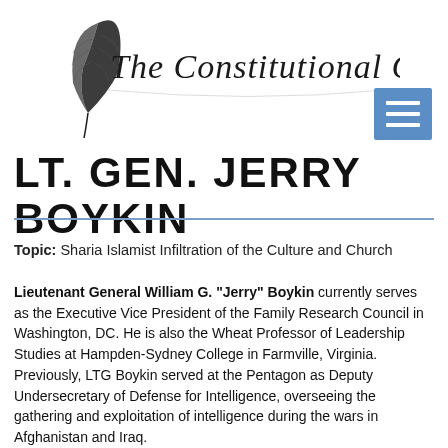[Figure (logo): The Constitutional Coalition logo with quill pen and cursive text]
LT. GEN. JERRY BOYKIN
Topic: Sharia Islamist Infiltration of the Culture and Church
Lieutenant General William G. "Jerry" Boykin currently serves as the Executive Vice President of the Family Research Council in Washington, DC. He is also the Wheat Professor of Leadership Studies at Hampden-Sydney College in Farmville, Virginia. Previously, LTG Boykin served at the Pentagon as Deputy Undersecretary of Defense for Intelligence, overseeing the gathering and exploitation of intelligence during the wars in Afghanistan and Iraq.